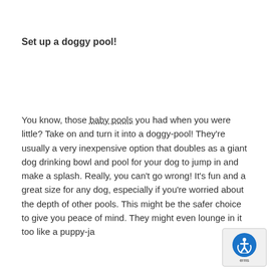Set up a doggy pool!
You know, those baby pools you had when you were little? Take on and turn it into a doggy-pool! They're usually a very inexpensive option that doubles as a giant dog drinking bowl and pool for your dog to jump in and make a splash. Really, you can't go wrong! It's fun and a great size for any dog, especially if you're worried about the depth of other pools. This might be the safer choice to give you peace of mind. They might even lounge in it too like a puppy-ja